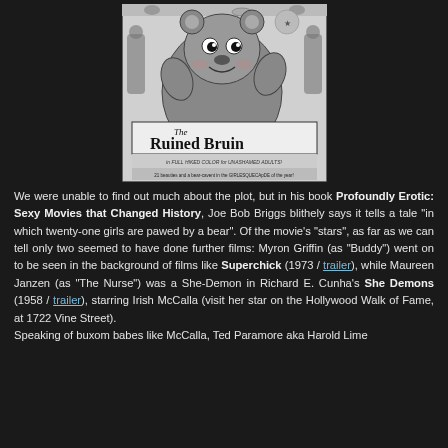[Figure (illustration): Black and white movie poster for 'The Ruined Bruin' showing a cartoon bear holding a cocktail glass, with scantily clad women. Text reads 'in FULL HIKED COLOR for UNASHAMED ADULTS!' and '21 beauties and a bear-cavent in the GIRLESQUECApDE of the year!']
We were unable to find out much about the plot, but in his book Profoundly Erotic: Sexy Movies that Changed History, Joe Bob Briggs blithely says it tells a tale "in which twenty-one girls are pawed by a bear". Of the movie's "stars", as far as we can tell only two seemed to have done further films: Myron Griffin (as "Buddy") went on to be seen in the background of films like Superchick (1973 / trailer), while Maureen Janzen (as "The Nurse") was a She-Demon in Richard E. Cunha's She Demons (1958 / trailer), starring Irish McCalla (visit her star on the Hollywood Walk of Fame, at 1722 Vine Street). Speaking of buxom babes like McCalla, Ted Paramore aka Harold Lime